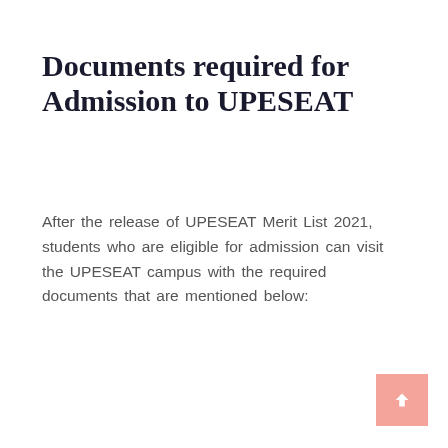Documents required for Admission to UPESEAT
After the release of UPESEAT Merit List 2021, students who are eligible for admission can visit the UPESEAT campus with the required documents that are mentioned below:
[Figure (other): A red 'X CLOSE' button UI element]
[Figure (other): A salmon/pink scroll-to-top button with an upward chevron arrow in the bottom-right corner]